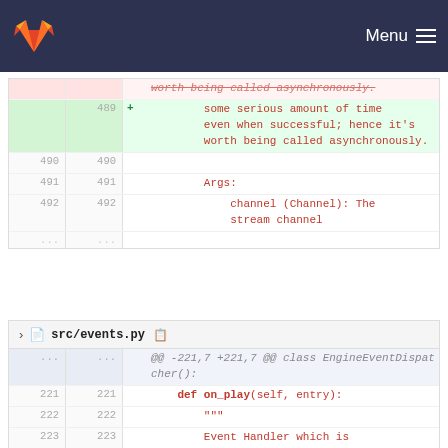GitLab navigation — Menu
Diff view — file diff lines showing code changes
489 + some serious amount of time even when successful; hence it's worth being called asynchronously.
490 490
491 491     Args:
492 492         channel (Channel): The stream channel
...
src/events.py file header
@@ -221,7 +221,7 @@ class EngineEventDispatcher():
221 221     def on_play(self, entry):
222 222         """
223 223         Event Handler which is called by the engine when some play command to Liquidsoap is issued.
224 -         This does not indiciate
...that Liquidsoap started playing